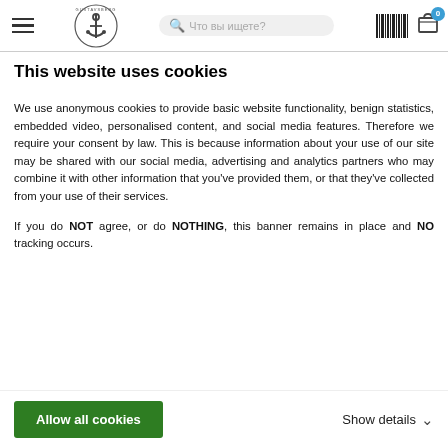Gustavsberg — Что вы ищете?
This website uses cookies
We use anonymous cookies to provide basic website functionality, benign statistics, embedded video, personalised content, and social media features. Therefore we require your consent by law. This is because information about your use of our site may be shared with our social media, advertising and analytics partners who may combine it with other information that you've provided them, or that they've collected from your use of their services.
If you do NOT agree, or do NOTHING, this banner remains in place and NO tracking occurs.
Allow all cookies    Show details